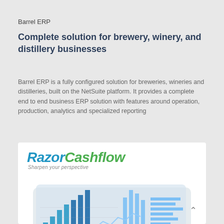Barrel ERP
Complete solution for brewery, winery, and distillery businesses
Barrel ERP is a fully configured solution for breweries, wineries and distilleries, built on the NetSuite platform. It provides a complete end to end business ERP solution with features around operation, production, analytics and specialized reporting
[Figure (screenshot): RazorCashflow logo with tagline 'Sharpen your perspective' above a tablet displaying business analytics dashboard with bar charts, line charts and pie charts]